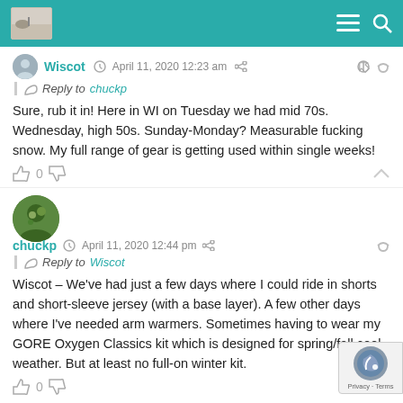Website header bar with logo and navigation icons
Wiscot  April 11, 2020 12:23 am  Reply to chuckp  Sure, rub it in! Here in WI on Tuesday we had mid 70s. Wednesday, high 50s. Sunday-Monday? Measurable fucking snow. My full range of gear is getting used within single weeks!  0
chuckp  April 11, 2020 12:44 pm  Reply to Wiscot  Wiscot – We've had just a few days where I could ride in shorts and short-sleeve jersey (with a base layer). A few other days where I've needed arm warmers. Sometimes having to wear my GORE Oxygen Classics kit which is designed for spring/fall cool weather. But at least no full-on winter kit.  0